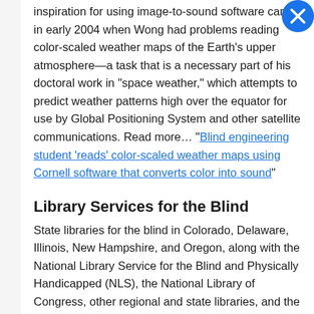inspiration for using image-to-sound software came in early 2004 when Wong had problems reading color-scaled weather maps of the Earth's upper atmosphere—a task that is a necessary part of his doctoral work in "space weather," which attempts to predict weather patterns high over the equator for use by Global Positioning System and other satellite communications. Read more… "Blind engineering student 'reads' color-scaled weather maps using Cornell software that converts color into sound"
Library Services for the Blind
State libraries for the blind in Colorado, Delaware, Illinois, New Hampshire, and Oregon, along with the National Library Service for the Blind and Physically Handicapped (NLS), the National Library of Congress, other regional and state libraries, and the CNIB Library in Canada provide free audiobook library services to the visually